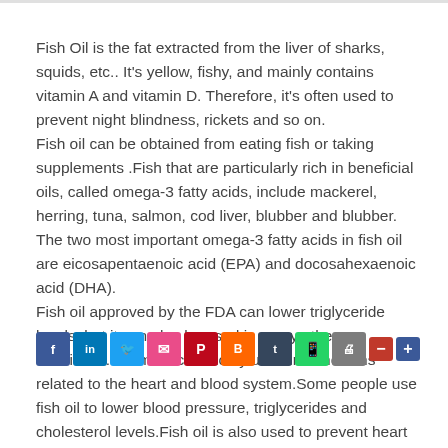Fish Oil is the fat extracted from the liver of sharks, squids, etc.. It's yellow, fishy, and mainly contains vitamin A and vitamin D. Therefore, it's often used to prevent night blindness, rickets and so on.
Fish oil can be obtained from eating fish or taking supplements .Fish that are particularly rich in beneficial oils, called omega-3 fatty acids, include mackerel, herring, tuna, salmon, cod liver, blubber and blubber. The two most important omega-3 fatty acids in fish oil are eicosapentaenoic acid (EPA) and docosahexaenoic acid (DHA).
Fish oil approved by the FDA can lower triglyceride levels, but it can also be used in many other conditions.It is most commonly used in conditions related to the heart and blood system.Some people use fish oil to lower blood pressure, triglycerides and cholesterol levels.Fish oil is also used to prevent heart attacks, strokes, as well as clogged arteries after heart transplants, chest pain, arrhythmia, bypass surgery, heart failure, rapid heartbeat, blood clots, and high blood pressure.
[Figure (other): Social media sharing buttons bar: Facebook, LinkedIn, Twitter, Email, Pinterest, Blogger, Tumblr, WhatsApp, Print, Minus, Plus]